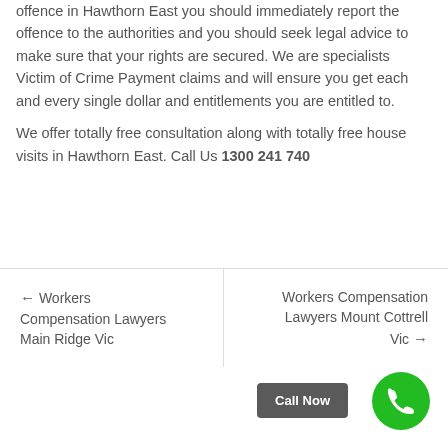offence in Hawthorn East you should immediately report the offence to the authorities and you should seek legal advice to make sure that your rights are secured. We are specialists Victim of Crime Payment claims and will ensure you get each and every single dollar and entitlements you are entitled to.
We offer totally free consultation along with totally free house visits in Hawthorn East. Call Us 1300 241 740
← Workers Compensation Lawyers Main Ridge Vic
Workers Compensation Lawyers Mount Cottrell Vic →